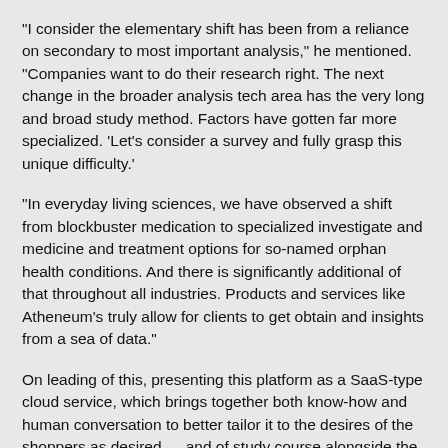“I consider the elementary shift has been from a reliance on secondary to most important analysis,” he mentioned. “Companies want to do their research right. The next change in the broader analysis tech area has the very long and broad study method. Factors have gotten far more specialized. ‘Let’s consider a survey and fully grasp this unique difficulty.’
“In everyday living sciences, we have observed a shift from blockbuster medication to specialized investigate and medicine and treatment options for so-named orphan health conditions. And there is significantly additional of that throughout all industries. Products and services like Atheneum’s truly allow for clients to get obtain and insights from a sea of data.”
On leading of this, presenting this platform as a SaaS-type cloud service, which brings together both know-how and human conversation to better tailor it to the desires of the shoppers as desired — and of study course alongside the individuals who are furnishing the raw knowledge in the to start with put — suits in with how a large amount of enterprises want to interact with engineering and IT companies these days.
That will mean an raising number of competitors to Atheneum that will be on the lookout to leverage their have achieve and resources to dive further into the ‘research as a service’ room. That could include additional exercise from study and direct advertising and marketing organizations.